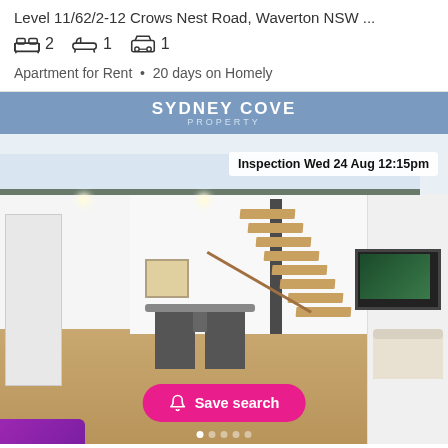Level 11/62/2-12 Crows Nest Road, Waverton NSW ...
2 bedrooms, 1 bathroom, 1 parking
Apartment for Rent • 20 days on Homely
[Figure (photo): Interior photo of a modern apartment with floating staircase, mezzanine level with glass balustrade, dining area, wall-mounted TV, and white walls. Agency banner shows SYDNEY COVE PROPERTY. Inspection badge: Wed 24 Aug 12:15pm. Save search button visible.]